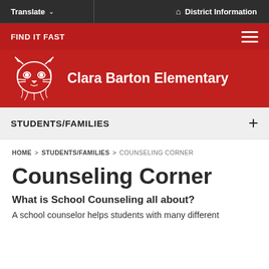Translate   District Information
FIND IT FAST
Clara Barton Elementary
STUDENTS/FAMILIES
HOME > STUDENTS/FAMILIES > COUNSELING CORNER
Counseling Corner
What is School Counseling all about?
A school counselor helps students with many different